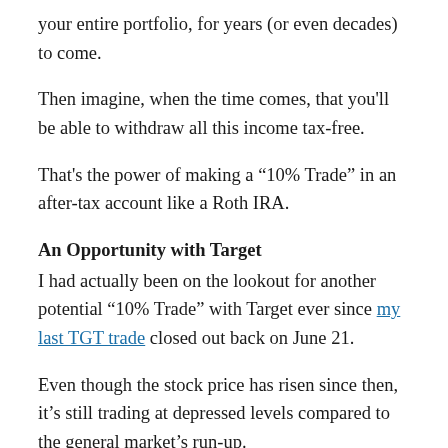your entire portfolio, for years (or even decades) to come.
Then imagine, when the time comes, that you'll be able to withdraw all this income tax-free.
That's the power of making a “10% Trade” in an after-tax account like a Roth IRA.
An Opportunity with Target
I had actually been on the lookout for another potential “10% Trade” with Target ever since my last TGT trade closed out back on June 21.
Even though the stock price has risen since then, it’s still trading at depressed levels compared to the general market’s run-up.
In fact, over the past 12 months, U.S. stocks — as